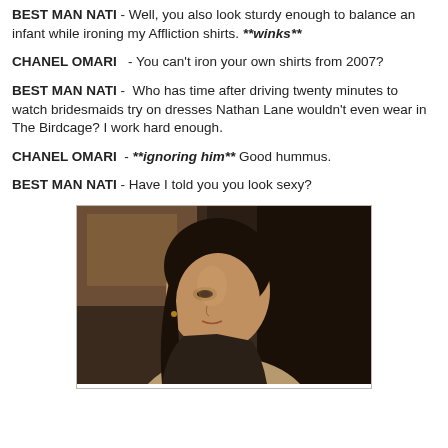BEST MAN NATI - Well, you also look sturdy enough to balance an infant while ironing my Affliction shirts. **winks**
CHANEL OMARI - You can't iron your own shirts from 2007?
BEST MAN NATI - Who has time after driving twenty minutes to watch bridesmaids try on dresses Nathan Lane wouldn't even wear in The Birdcage? I work hard enough.
CHANEL OMARI - **ignoring him** Good hummus.
BEST MAN NATI - Have I told you you look sexy?
[Figure (photo): A woman with long dark hair, side profile/three-quarter view, looking to the right, appearing to be in a dimly lit indoor setting.]